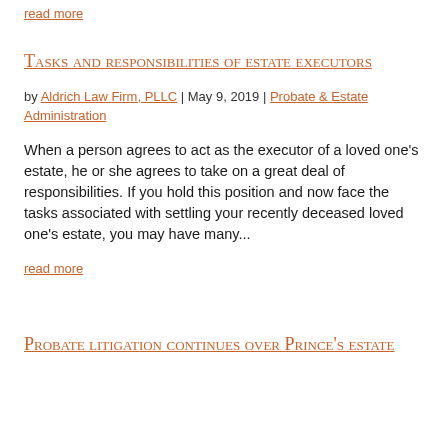read more
Tasks and responsibilities of estate executors
by Aldrich Law Firm, PLLC | May 9, 2019 | Probate & Estate Administration
When a person agrees to act as the executor of a loved one's estate, he or she agrees to take on a great deal of responsibilities. If you hold this position and now face the tasks associated with settling your recently deceased loved one's estate, you may have many...
read more
Probate litigation continues over Prince's estate